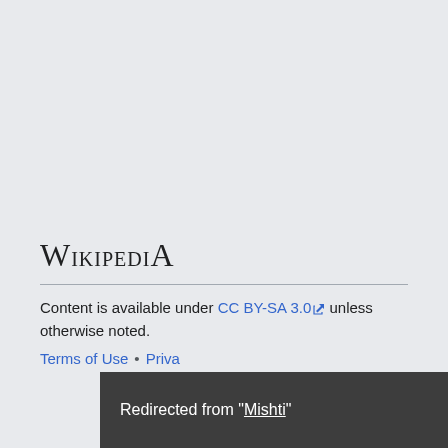[Figure (logo): Wikipedia logo text in serif small-caps font]
Content is available under CC BY-SA 3.0 unless otherwise noted.
Terms of Use • Privacy
Redirected from "Mishti"